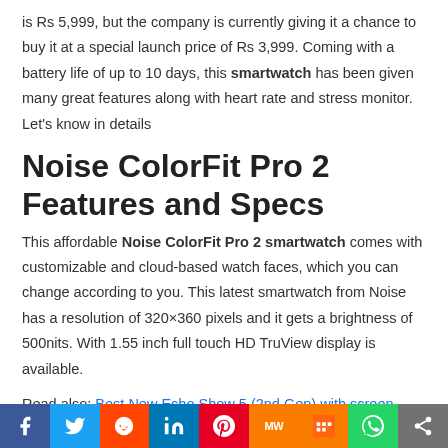is Rs 5,999, but the company is currently giving it a chance to buy it at a special launch price of Rs 3,999. Coming with a battery life of up to 10 days, this smartwatch has been given many great features along with heart rate and stress monitor. Let's know in details
Noise ColorFit Pro 2 Features and Specs
This affordable Noise ColorFit Pro 2 smartwatch comes with customizable and cloud-based watch faces, which you can change according to you. This latest smartwatch from Noise has a resolution of 320×360 pixels and it gets a brightness of 500nits. With 1.55 inch full touch HD TruView display is available.
Read also: Best New Echo Show 5 (2nd Gen) with screen India